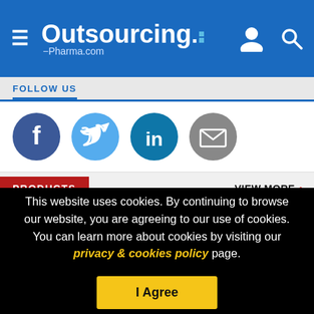Outsourcing-Pharma.com
FOLLOW US
[Figure (illustration): Social media icons: Facebook (dark blue circle), Twitter (light blue circle), LinkedIn (teal circle), Email (grey circle)]
PRODUCTS | VIEW MORE
Ensure a Flexible Supply Chain in Times of Global Turmoil
ANCILLARE | DOWNLOAD INSIGHT GUIDE
This website uses cookies. By continuing to browse our website, you are agreeing to our use of cookies. You can learn more about cookies by visiting our privacy & cookies policy page.
I Agree